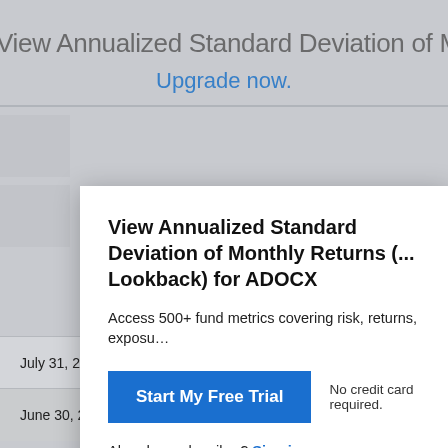View Annualized Standard Deviation of Monthly Returns
Upgrade now.
View Annualized Standard Deviation of Monthly Returns (... Lookback) for ADOCX
Access 500+ fund metrics covering risk, returns, exposu...
Start My Free Trial    No credit card required.
Already a subscriber? Sign in.
| Date |  | Date |
| --- | --- | --- |
| July 31, 2022 | -- | June 30, 2020 |
| June 30, 2022 | -- | May 31, 2020 |